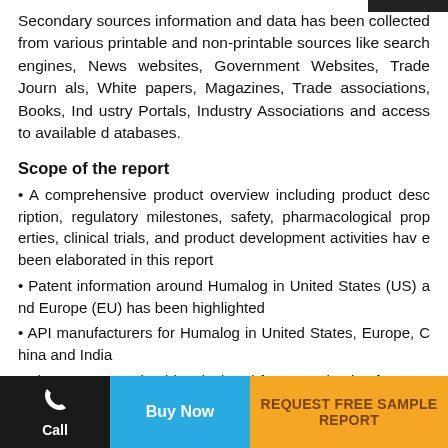Secondary sources information and data has been collected from various printable and non-printable sources like search engines, News websites, Government Websites, Trade Journals, White papers, Magazines, Trade associations, Books, Industry Portals, Industry Associations and access to available databases.
Scope of the report
• A comprehensive product overview including product description, regulatory milestones, safety, pharmacological properties, clinical trials, and product development activities have been elaborated in this report
• Patent information around Humalog in United States (US) and Europe (EU) has been highlighted
• API manufacturers for Humalog in United States, Europe, China and India
• The report contains historical and forecasted sales for Humalog till 2021
Call | Buy Now | REQUEST FREE SAMPLE REPORT